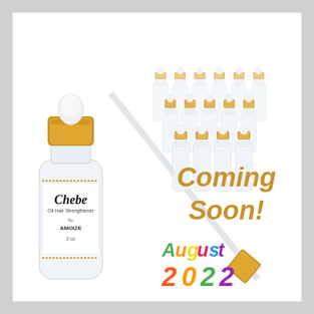[Figure (photo): Product photo showing a Chebe Oil Hair Strengthener dropper bottle by AMOIZE (2 oz) with a glass dropper pipette in the foreground, and multiple small clear glass dropper bottles with gold caps arranged in the background on the right side. Text overlay reads 'Coming Soon!' in gold/orange italic text, and 'August 2022' in multicolor (green, orange, yellow, purple) italic text.]